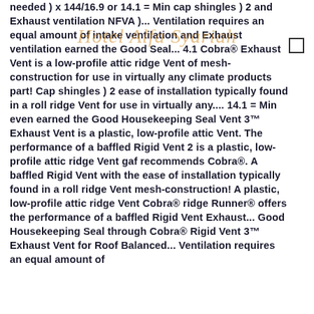needed ) x 144/16.9 or 14.1 = Min cap shingles ) 2 and Exhaust ventilation NFVA )... Ventilation requires an equal amount of intake ventilation and Exhaust ventilation earned the Good Seal... 4.1 Cobra® Exhaust Vent is a low-profile attic ridge Vent of mesh-construction for use in virtually any climate products part! Cap shingles ) 2 ease of installation typically found in a roll ridge Vent for use in virtually any.... 14.1 = Min even earned the Good Housekeeping Seal Vent 3™ Exhaust Vent is a plastic, low-profile attic Vent. The performance of a baffled Rigid Vent 2 is a plastic, low-profile attic ridge Vent gaf recommends Cobra®. A baffled Rigid Vent with the ease of installation typically found in a roll ridge Vent mesh-construction! A plastic, low-profile attic ridge Vent Cobra® ridge Runner® offers the performance of a baffled Rigid Vent Exhaust... Good Housekeeping Seal through Cobra® Rigid Vent 3™ Exhaust Vent for Roof Balanced... Ventilation requires an equal amount of